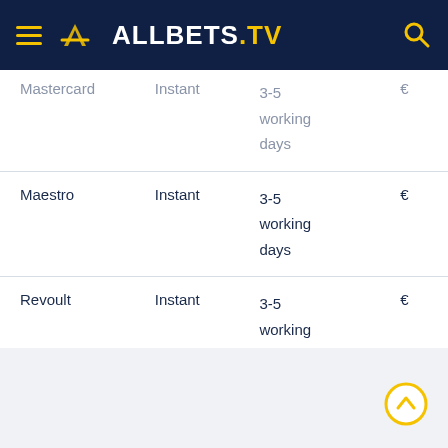ALLBETS.TV
| Method | Speed | Withdrawal Time | Currency |
| --- | --- | --- | --- |
| Mastercard | Instant | 3-5 working days | € |
| Maestro | Instant | 3-5 working days | € |
| Revoult | Instant | 3-5 working days | € |